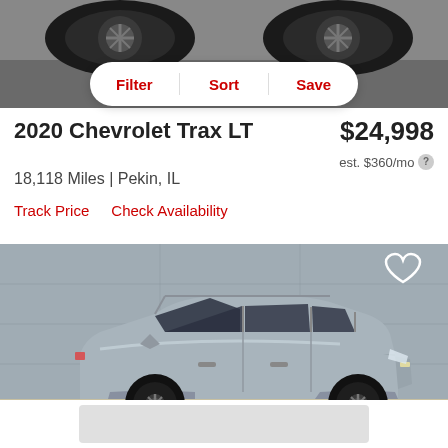[Figure (photo): Top portion of a vehicle listing page showing tires of a car from above, with gray background]
[Figure (screenshot): Filter/Sort/Save button bar with rounded pill shape and red text]
2020 Chevrolet Trax LT
$24,998
est. $360/mo
18,118 Miles | Pekin, IL
Track Price    Check Availability
[Figure (photo): Side profile photo of a silver/gray 2020 Chevrolet Trax LT SUV parked against a gray building wall, with a heart/save icon in the upper right corner]